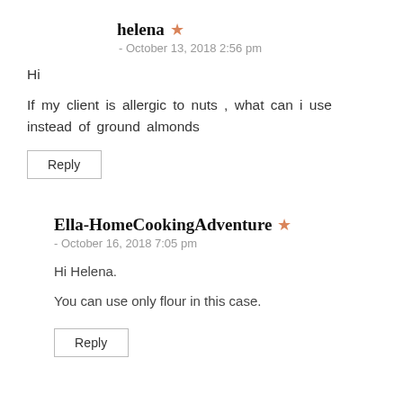helena ★
- October 13, 2018 2:56 pm
Hi
If my client is allergic to nuts , what can i use instead of ground almonds
Reply
Ella-HomeCookingAdventure ★
- October 16, 2018 7:05 pm
Hi Helena.
You can use only flour in this case.
Reply